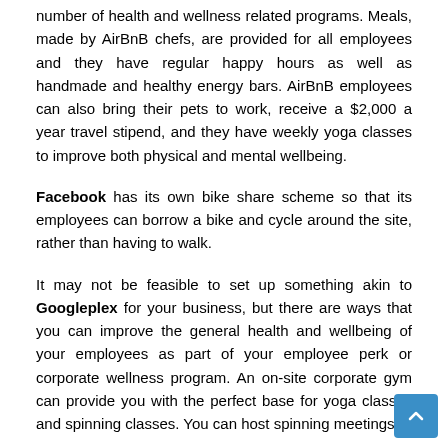number of health and wellness related programs. Meals, made by AirBnB chefs, are provided for all employees and they have regular happy hours as well as handmade and healthy energy bars. AirBnB employees can also bring their pets to work, receive a $2,000 a year travel stipend, and they have weekly yoga classes to improve both physical and mental wellbeing.
Facebook has its own bike share scheme so that its employees can borrow a bike and cycle around the site, rather than having to walk.
It may not be feasible to set up something akin to Googleplex for your business, but there are ways that you can improve the general health and wellbeing of your employees as part of your employee perk or corporate wellness program. An on-site corporate gym can provide you with the perfect base for yoga classes and spinning classes. You can host spinning meetings and...